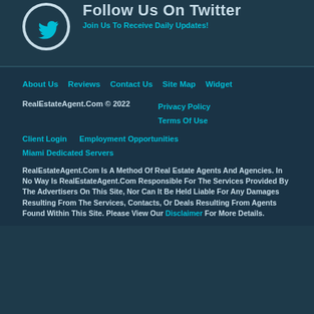Follow Us On Twitter
Join Us To Receive Daily Updates!
[Figure (logo): Twitter bird logo in a circle, teal/dark background]
About Us
Reviews
Contact Us
Site Map
Widget
RealEstateAgent.Com © 2022
Privacy Policy
Terms Of Use
Client Login   Employment Opportunities   Miami Dedicated Servers
RealEstateAgent.Com Is A Method Of Real Estate Agents And Agencies. In No Way Is RealEstateAgent.Com Responsible For The Services Provided By The Advertisers On This Site, Nor Can It Be Held Liable For Any Damages Resulting From The Services, Contacts, Or Deals Resulting From Agents Found Within This Site. Please View Our Disclaimer For More Details.